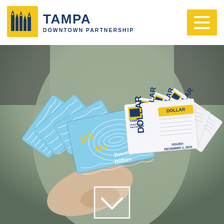[Figure (logo): Tampa Downtown Partnership logo with stylized building/tree icon in blue and yellow, with text TAMPA DOWNTOWN PARTNERSHIP]
[Figure (photo): Person holding a fan of Tampa Downtown Partnership vouchers/dollars - blue wavy $10 Downtown Dollars vouchers and white DOLLAR tickets fanned out. One voucher reads ISSUED: DECEMBER 2, 2020. A white scroll-down chevron button is visible at the bottom center.]